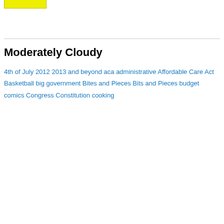Michigoose
lmsinca
markinaustin
Memetrics
novahockey
quarterback
ScottC
yellojkt
Moderately Cloudy
4th of July  2012  2013 and beyond  aca  administrative  Affordable Care Act  Basketball  big government  Bites and Pieces  Bits and Pieces  budget  comics  Congress  Constitution  cooking